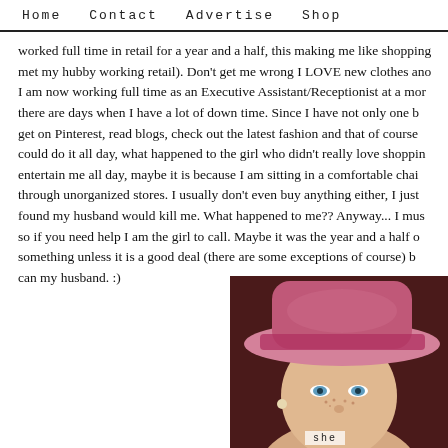Home  Contact  Advertise  Shop
worked full time in retail for a year and a half, this making me like shopping (I also met my hubby working retail). Don't get me wrong I LOVE new clothes and shopping. I am now working full time as an Executive Assistant/Receptionist at a mor... there are days when I have a lot of down time. Since I have not only one b... get on Pinterest, read blogs, check out the latest fashion and that of course... could do it all day, what happened to the girl who didn't really love shoppin... entertain me all day, maybe it is because I am sitting in a comfortable chai... through unorganized stores. I usually don't even buy anything either, I just... found my husband would kill me. What happened to me?? Anyway... I mus... so if you need help I am the girl to call. Maybe it was the year and a half o... something unless it is a good deal (there are some exceptions of course) b... can my husband. :)
[Figure (photo): Photo of a woman wearing a pink hat, with blue eyes and freckles, partially cropped. Text 'she' visible at the bottom of the image.]